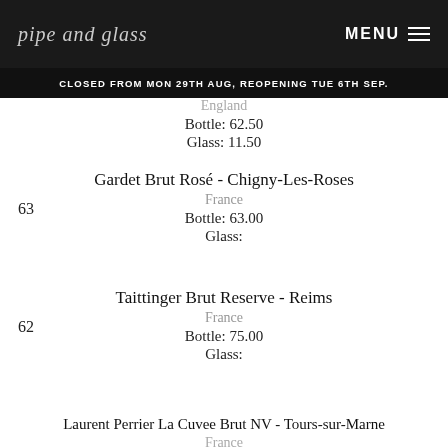Glass: 11.00
[Figure (logo): pipe and glass logo in italic script on dark background]
CLOSED FROM MON 29TH AUG, REOPENING TUE 6TH SEP.
England
Bottle: 62.50
Glass: 11.50
63
Gardet Brut Rosé - Chigny-Les-Roses
France
Bottle: 63.00
Glass:
62
Taittinger Brut Reserve - Reims
France
Bottle: 75.00
Glass:
68
Laurent Perrier La Cuvee Brut NV - Tours-sur-Marne
France